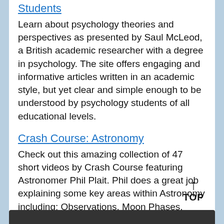Students
Learn about psychology theories and perspectives as presented by Saul McLeod, a British academic researcher with a degree in psychology. The site offers engaging and informative articles written in an academic style, but yet clear and simple enough to be understood by psychology students of all educational levels.
Crash Course: Astronomy
Check out this amazing collection of 47 short videos by Crash Course featuring Astronomer Phil Plait. Phil does a great job explaining some key areas within Astronomy including: Observations, Moon Phases, Eclips[obscured], The Sun,